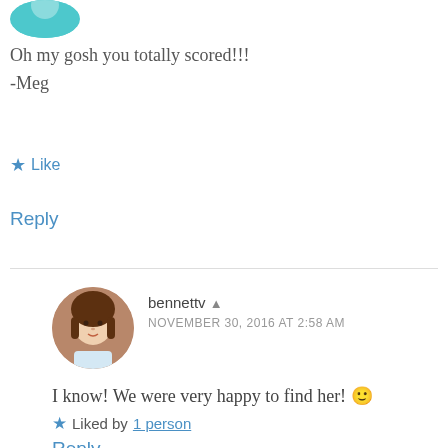[Figure (photo): Partial avatar image at top left, teal/blue circular profile picture, cropped]
Oh my gosh you totally scored!!!
-Meg
★ Like
Reply
[Figure (photo): Circular avatar showing a doll with brown hair]
bennettv ▲
NOVEMBER 30, 2016 AT 2:58 AM
I know! We were very happy to find her! 🙂
★ Liked by 1 person
Reply